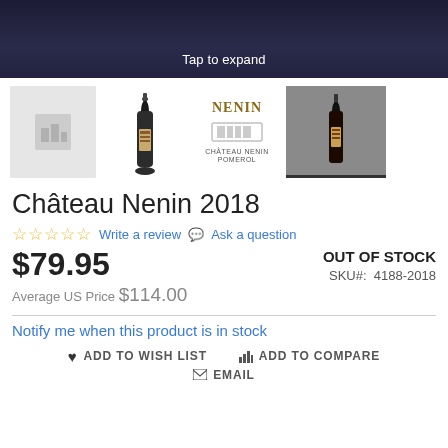[Figure (screenshot): Dark smartphone top portion with 'Tap to expand' label]
[Figure (photo): Four product thumbnail images of Chateau Nenin 2018 wine bottle]
Château Nenin 2018
☆☆☆☆☆ Write a review  💬 Ask a question
$79.95  OUT OF STOCK
Average US Price $114.00  SKU#: 4188-2018
Notify me when this product is in stock
♥ ADD TO WISH LIST   📊 ADD TO COMPARE
✉ EMAIL